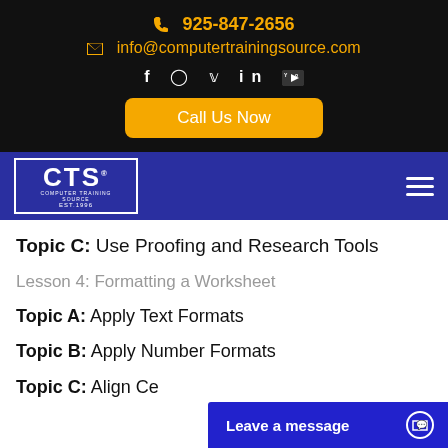925-847-2656  info@computertrainingsource.com
[Figure (logo): CTS Computer Training Source logo with EST.1996, white on dark blue background]
Topic C: Use Proofing and Research Tools
Lesson 4: Formatting a Worksheet
Topic A: Apply Text Formats
Topic B: Apply Number Formats
Topic C: Align Ce...
Topic D: Apply St...
Leave a message